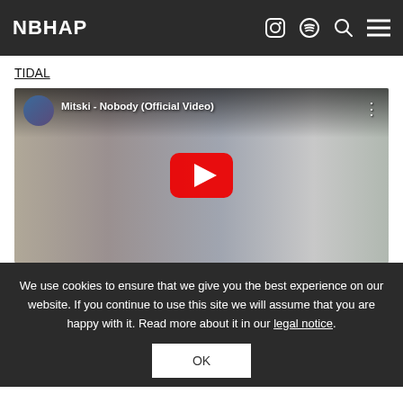NBHAP
TIDAL
[Figure (screenshot): YouTube video embed thumbnail showing Mitski - Nobody (Official Video) with a play button overlay. Avatar thumbnail on top left, video title text, three-dot menu icon on top right.]
We use cookies to ensure that we give you the best experience on our website. If you continue to use this site we will assume that you are happy with it. Read more about it in our legal notice.
OK